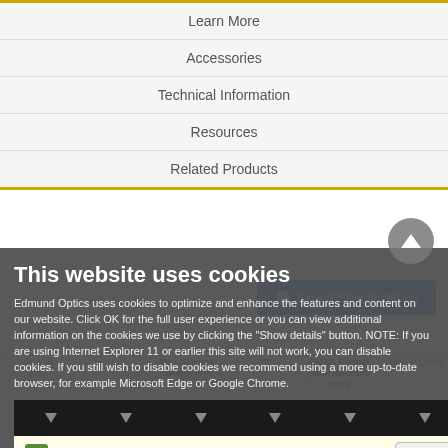Learn More
Accessories
Technical Information
Resources
Related Products
Export Specifications
| FOV @ Max. Sensor | Max. Format, Sensor H×V | WD | PMAG Format (mm) | Aperture (mm) | f/(#) Comp | Style #. Comp |
| --- | --- | --- | --- | --- | --- | --- |
| 0.28X | 1.1" | 50.7 × 37.1 | f/6 - f/22 | 182 | VI |  |
This website uses cookies
Edmund Optics uses cookies to optimize and enhance the features and content on our website. Click OK for the full user experience or you can view additional information on the cookies we use by clicking the "Show details" button. NOTE: If you are using Internet Explorer 11 or earlier this site will not work, you can disable cookies. If you still wish to disable cookies we recommend using a more up-to-date browser, for example Microsoft Edge or Google Chrome.
OK
Show details